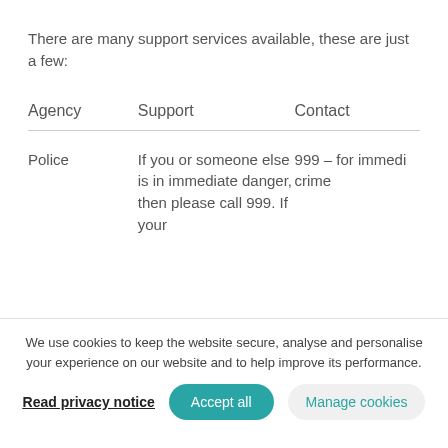There are many support services available, these are just a few:
| Agency | Support | Contact |
| --- | --- | --- |
| Police | If you or someone else is in immediate danger, then please call 999. If your | 999 – for immedi crime |
We use cookies to keep the website secure, analyse and personalise your experience on our website and to help improve its performance.
Read privacy notice | Accept all | Manage cookies